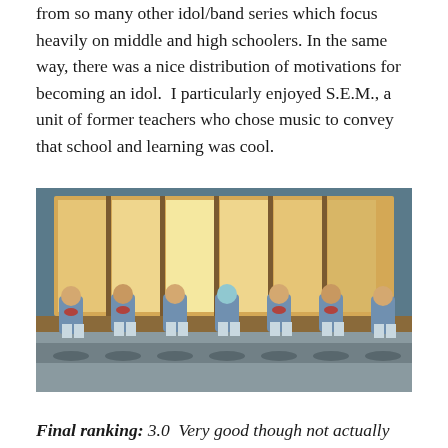from so many other idol/band series which focus heavily on middle and high schoolers. In the same way, there was a nice distribution of motivations for becoming an idol.  I particularly enjoyed S.E.M., a unit of former teachers who chose music to convey that school and learning was cool.
[Figure (photo): Anime scene showing seven characters in light blue yukata/hospital gowns sitting in a row on a windowsill in front of large windows with warm backlight. They appear to be holding bowls of watermelon.]
Final ranking: 3.0  Very good though not actually